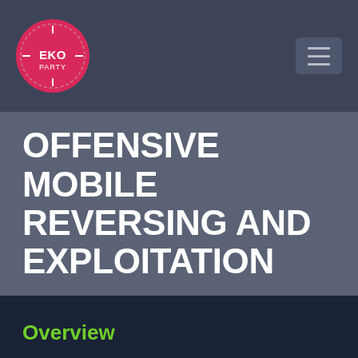EKOPARTY
OFFENSIVE MOBILE REVERSING AND EXPLOITATION
Overview